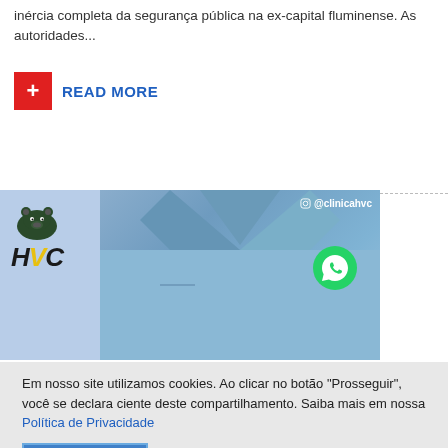inércia completa da segurança pública na ex-capital fluminense. As autoridades...
+ READ MORE
[Figure (photo): HVC clinic advertisement banner showing a person in blue medical scrubs with HVC logo, Instagram handle @clinicahvc, and WhatsApp icon]
Em nosso site utilizamos cookies. Ao clicar no botão "Prosseguir", você se declara ciente deste compartilhamento. Saiba mais em nossa Política de Privacidade
Prosseguir